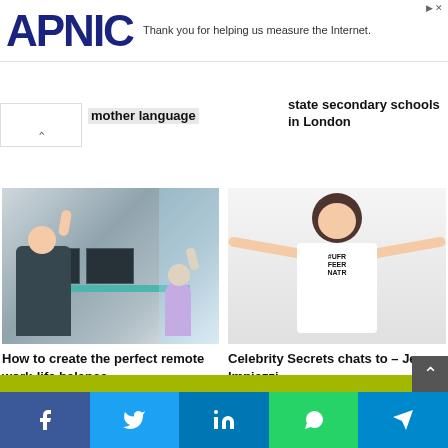[Figure (screenshot): APNIC logo and advertisement banner saying 'Thank you for helping us measure the Internet.']
mother language
state secondary schools in London
[Figure (photo): Photo of a person sitting at a desk with two monitors giving a high-five to a child standing nearby in a home office setting.]
How to create the perfect remote work-life balance
[Figure (photo): Photo of a smiling woman with arms outstretched wearing a white t-shirt with text 'FREE NATION'.]
Celebrity Secrets chats to – Jess Impiazzi
Leave a Reply
Facebook Twitter LinkedIn WhatsApp Telegram social share buttons